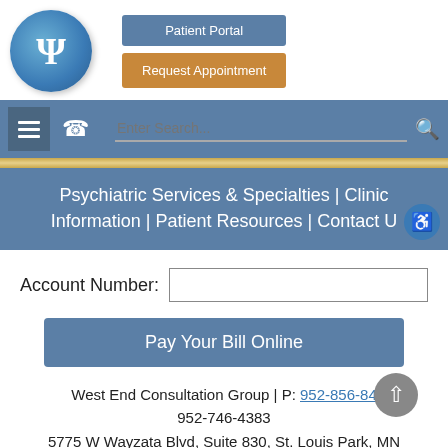[Figure (logo): Round blue circle with white psi symbol (psychology logo)]
Patient Portal
Request Appointment
Psychiatric Services & Specialties | Clinic Information | Patient Resources | Contact Us
Account Number:
Pay Your Bill Online
West End Consultation Group | P: 952-856-84… 952-746-4383
5775 W Wayzata Blvd, Suite 830, St. Louis Park, MN